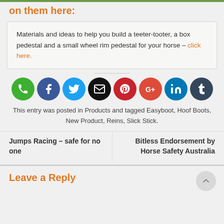on them here:
Materials and ideas to help you build a teeter-tooter, a box pedestal and a small wheel rim pedestal for your horse - click here.
[Figure (infographic): Row of 8 social media icon circles: phone (green), Facebook (dark blue), Twitter (blue), email (black), Pinterest (red), Google+ (orange-red), LinkedIn (blue), Tumblr (dark slate)]
This entry was posted in Products and tagged Easyboot, Hoof Boots, New Product, Reins, Slick Stick.
Jumps Racing – safe for no one
Bitless Endorsement by Horse Safety Australia
Leave a Reply